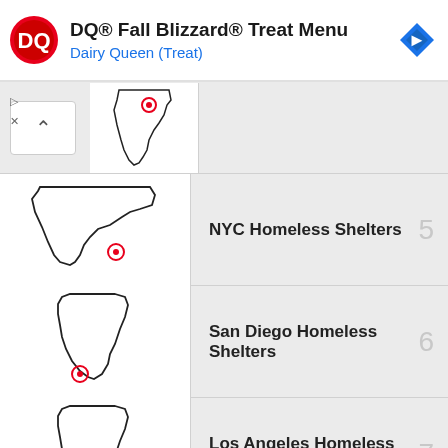[Figure (screenshot): Dairy Queen ad banner with DQ logo, title 'DQ® Fall Blizzard® Treat Menu', subtitle 'Dairy Queen (Treat)', and a blue navigation arrow icon]
[Figure (map): Partial map thumbnail (top of list, with up-arrow collapse button)]
NYC Homeless Shelters
San Diego Homeless Shelters
Los Angeles Homeless Shelters